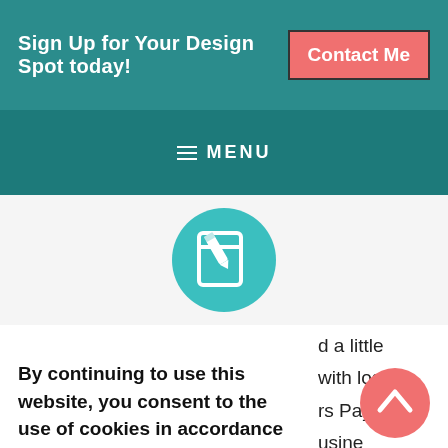Sign Up for Your Design Spot today!
[Figure (screenshot): Navigation menu bar with hamburger icon and MENU label on teal background]
[Figure (illustration): Teal circle with white edit/pencil icon in center]
By continuing to use this website, you consent to the use of cookies in accordance with our Cookie Policy.
ACCEPT